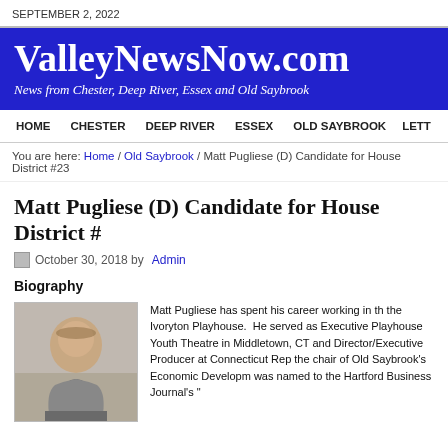SEPTEMBER 2, 2022
ValleyNewsNow.com
News from Chester, Deep River, Essex and Old Saybrook
HOME   CHESTER   DEEP RIVER   ESSEX   OLD SAYBROOK   LETT
You are here: Home / Old Saybrook / Matt Pugliese (D) Candidate for House District #23
Matt Pugliese (D) Candidate for House District #
October 30, 2018 by Admin
Biography
[Figure (photo): Headshot photo of Matt Pugliese, a young man in a suit, smiling]
Matt Pugliese has spent his career working in the Ivoryton Playhouse.  He served as Executive Playhouse Youth Theatre in Middletown, CT and Director/Executive Producer at Connecticut Rep the chair of Old Saybrook's Economic Developm was named to the Hartford Business Journal's "